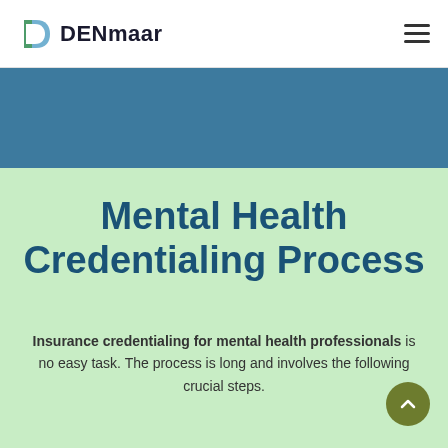DENmaar
Mental Health Credentialing Process
Insurance credentialing for mental health professionals is no easy task. The process is long and involves the following crucial steps.